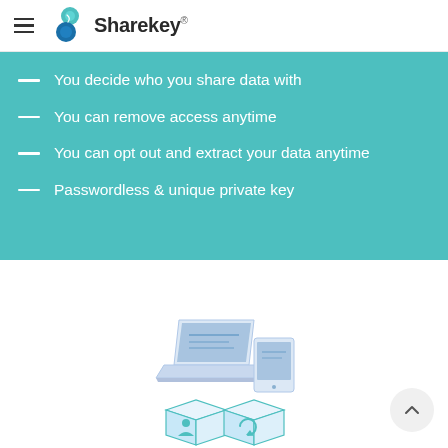Sharekey
You decide who you share data with
You can remove access anytime
You can opt out and extract your data anytime
Passwordless & unique private key
[Figure (illustration): Isometric illustration of a laptop, tablet, and two data/person cubes representing the Sharekey platform concept]